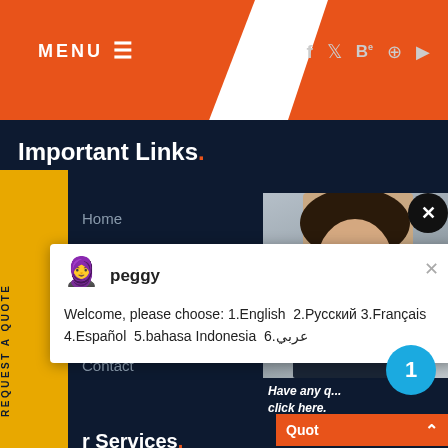[Figure (screenshot): Website header with orange MENU button on left, orange diagonal shape with social icons (Facebook, Twitter, Behance, Pinterest, YouTube) on right]
Important Links.
Home
[Figure (screenshot): Chat popup with avatar labeled peggy showing: Welcome, please choose: 1.English 2.Русский 3.Français 4.Español 5.bahasa Indonesia 6.عربي]
Contact
r Services.
[Figure (photo): Right panel with woman photo, close X button, notification badge with number 1, Have any / click here text, Quote button with chevron]
Have any questions, click here.
Quot
Enquiry
NK series mobile crusher
drobilkalm